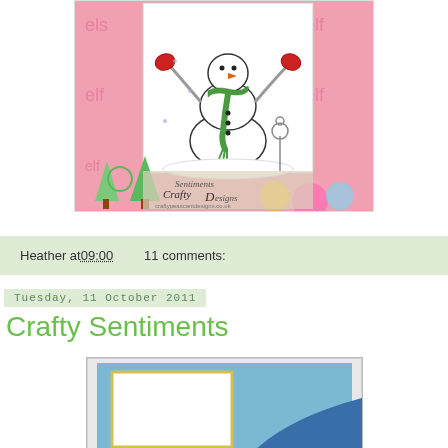[Figure (photo): A greeting card featuring a snowman with a green scarf and red mittens, arms raised, with a flower nearby. Background shows colorful patterned paper with trees and a Crafty Sentiments Designs watermark.]
Heather at 09:00    11 comments:
Tuesday, 11 October 2011
Crafty Sentiments
[Figure (illustration): A card layout sketch showing a blue background with a yellow-outlined white rectangle panel and a blue diagonal wave/swoosh element.]